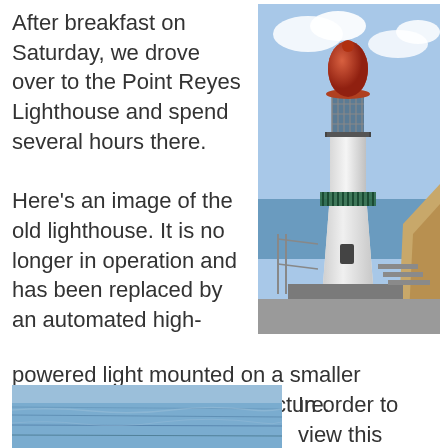After breakfast on Saturday, we drove over to the Point Reyes Lighthouse and spend several hours there.

Here's an image of the old lighthouse. It is no longer in operation and has been replaced by an automated high-powered light mounted on a smaller building just below this structure.
[Figure (photo): Photograph of the Point Reyes Lighthouse, a white cylindrical tower with a red-domed lantern room at the top, metal walkway railing, and coastal ocean backdrop.]
[Figure (photo): Photograph of calm ocean water with a blue-grey hue under a light sky.]
In order to view this lighthouse up close,